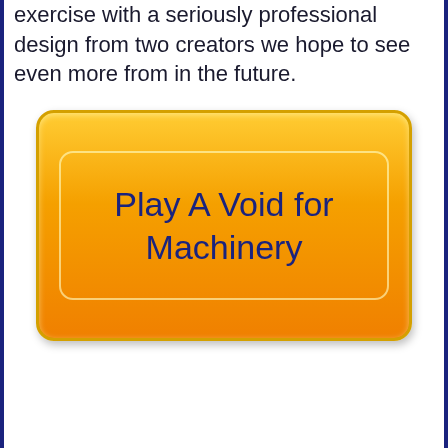exercise with a seriously professional design from two creators we hope to see even more from in the future.
[Figure (other): A large orange gradient button with rounded corners and an inner border, containing the text 'Play A Void for Machinery' in dark navy blue.]